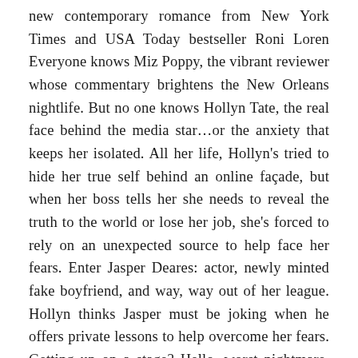new contemporary romance from New York Times and USA Today bestseller Roni Loren Everyone knows Miz Poppy, the vibrant reviewer whose commentary brightens the New Orleans nightlife. But no one knows Hollyn Tate, the real face behind the media star…or the anxiety that keeps her isolated. All her life, Hollyn's tried to hide her true self behind an online façade, but when her boss tells her she needs to reveal the truth to the world or lose her job, she's forced to rely on an unexpected source to help face her fears. Enter Jasper Deares: actor, newly minted fake boyfriend, and way, way out of her league. Hollyn thinks Jasper must be joking when he offers private lessons to help overcome her fears. Getting up on a stage? Hello, worst nightmare. But Jasper's infectious charm has her saying yes despite herself. They're only supposed to be playing a few improv games, but as the lessons run longer and the lines grow